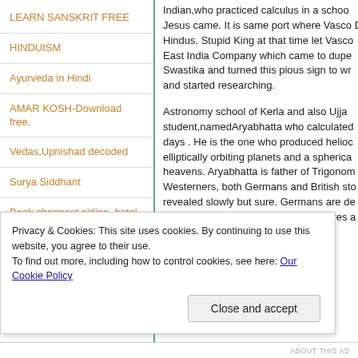LEARN SANSKRIT FREE
HINDUISM
Ayurveda in Hindi
AMAR KOSH-Download free.
Vedas,Upnishad decoded
Surya Siddhant
Book cheapest airline, hotel, car
Naga Sadhus Defeated Aurangzeh Defending Kashi
Indian,who practiced calculus in a school... Jesus came. It is same port where Vasco D Hindus. Stupid King at that time let Vasco East India Company which came to dupe Swastika and turned this pious sign to wr and started researching.
Astronomy school of Kerla and also Ujja student,namedAryabhatta who calculated days . He is the one who produced helioc elliptically orbiting planets and a spherica heavens. Aryabhatta is father of Trigonom Westerners, both Germans and British sto revealed slowly but sure. Germans are de sanctity of pios ancient Indian scriptures a
Privacy & Cookies: This site uses cookies. By continuing to use this website, you agree to their use.
To find out more, including how to control cookies, see here: Our Cookie Policy
Close and accept